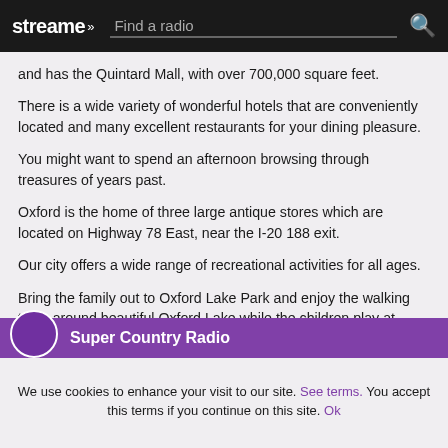streame  Find a radio
and has the Quintard Mall, with over 700,000 square feet.
There is a wide variety of wonderful hotels that are conveniently located and many excellent restaurants for your dining pleasure.
You might want to spend an afternoon browsing through treasures of years past.
Oxford is the home of three large antique stores which are located on Highway 78 East, near the I-20 188 exit.
Our city offers a wide range of recreational activities for all ages.
Bring the family out to Oxford Lake Park and enjoy the walking track around beautiful Oxford Lake while the children play at Freedom Park, which features exciting new playground equipment.
Super Country Radio
We use cookies to enhance your visit to our site. See terms. You accept this terms if you continue on this site. Ok